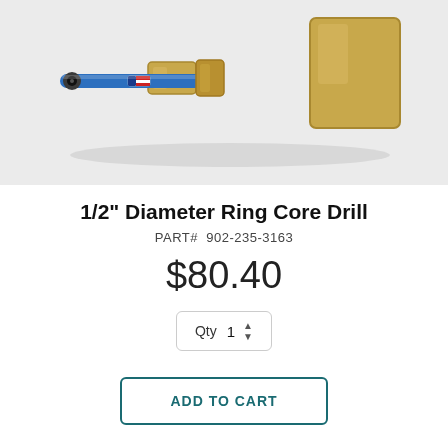[Figure (photo): Product photo of a 1/2 inch diameter ring core drill — a blue cylindrical drill bit with a brass fitting/adapter, shown on a light gray background.]
1/2" Diameter Ring Core Drill
PART#  902-235-3163
$80.40
Qty  1
ADD TO CART